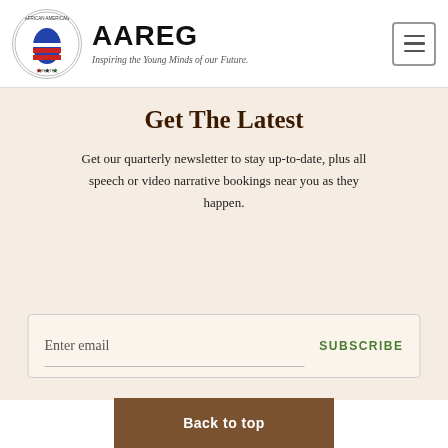AAREG — Inspiring the Young Minds of our Future.
Get The Latest
Get our quarterly newsletter to stay up-to-date, plus all speech or video narrative bookings near you as they happen.
Enter email  SUBSCRIBE
Back to top